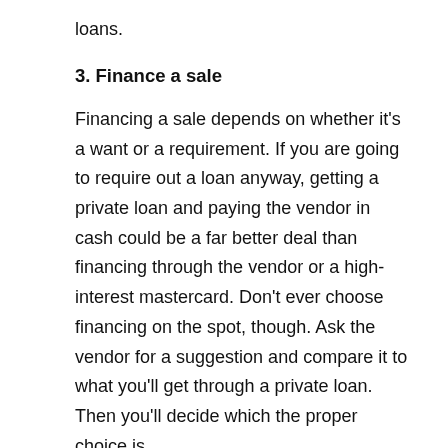loans.
3. Finance a sale
Financing a sale depends on whether it's a want or a requirement. If you are going to require out a loan anyway, getting a private loan and paying the vendor in cash could be a far better deal than financing through the vendor or a high-interest mastercard. Don't ever choose financing on the spot, though. Ask the vendor for a suggestion and compare it to what you'll get through a private loan. Then you'll decide which the proper choice is.
4. buy a marriage